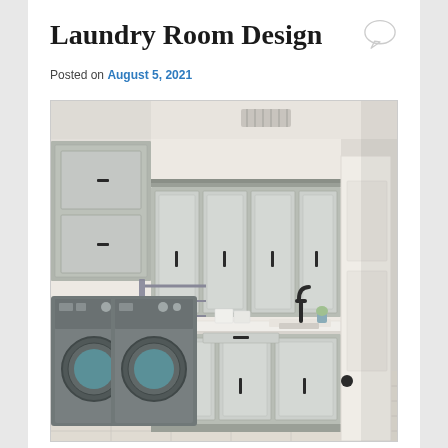Laundry Room Design
Posted on August 5, 2021
[Figure (photo): Interior photo of a modern laundry room featuring gray shaker-style cabinets (upper and lower), stainless steel appliances (washer and dryer with front-loading doors), a white countertop, a black faucet sink, light wood-look tile flooring, and black hardware on all cabinets.]